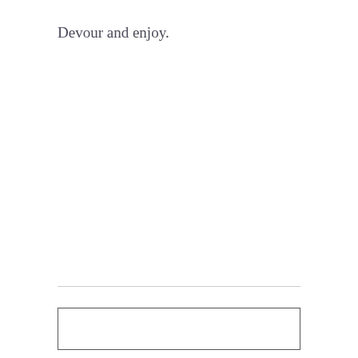Devour and enjoy.
[Figure (other): Empty rectangular box at the bottom of the page, below a horizontal divider line.]